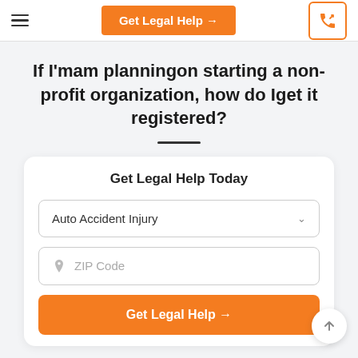Get Legal Help →
If I'mam planningon starting a non-profit organization, how do Iget it registered?
Get Legal Help Today
Auto Accident Injury
ZIP Code
Get Legal Help →